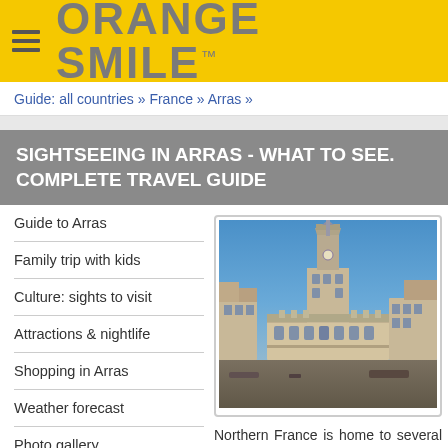ORANGE SMILE™
Guide: all countries » France » Arras »
SIGHTSEEING IN ARRAS - WHAT TO SEE. COMPLETE TRAVEL GUIDE
Guide to Arras
Family trip with kids
Culture: sights to visit
Attractions & nightlife
Shopping in Arras
Weather forecast
Photo gallery
Interactive map
[Figure (photo): Photo of Arras town square with ornate Flemish Baroque-style city hall and tall belfry tower under a blue sky]
Northern France is home to several beautiful cities, and Arras is definitely one of them. The